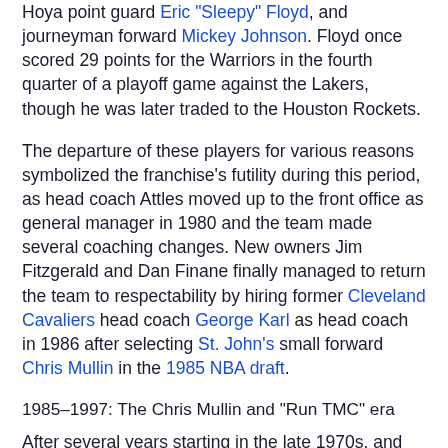Hoya point guard Eric "Sleepy" Floyd, and journeyman forward Mickey Johnson. Floyd once scored 29 points for the Warriors in the fourth quarter of a playoff game against the Lakers, though he was later traded to the Houston Rockets.
The departure of these players for various reasons symbolized the franchise's futility during this period, as head coach Attles moved up to the front office as general manager in 1980 and the team made several coaching changes. New owners Jim Fitzgerald and Dan Finane finally managed to return the team to respectability by hiring former Cleveland Cavaliers head coach George Karl as head coach in 1986 after selecting St. John's small forward Chris Mullin in the 1985 NBA draft.
1985–1997: The Chris Mullin and "Run TMC" era
After several years starting in the late 1970s, and...